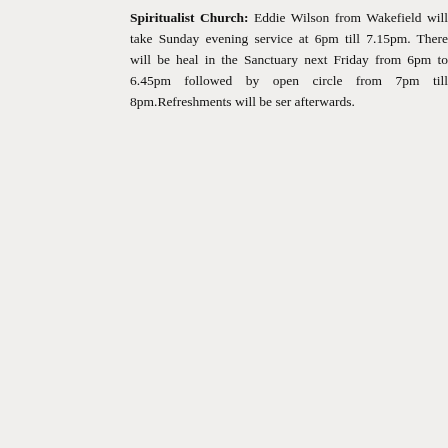Spiritualist Church: Eddie Wilson from Wakefield will take Sunday evening service at 6pm till 7.15pm. There will be healing in the Sanctuary next Friday from 6pm to 6.45pm followed by open circle from 7pm till 8pm.Refreshments will be served afterwards.